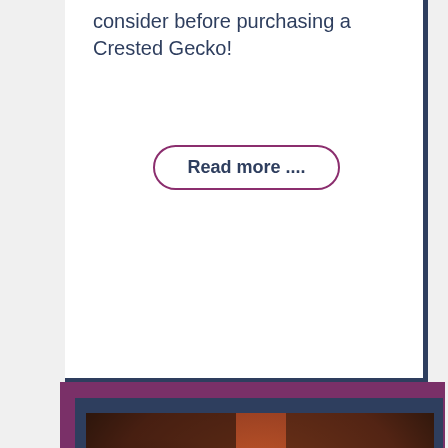consider before purchasing a Crested Gecko!
Read more ....
[Figure (photo): A crested gecko resting on a branch, viewed from above, with orange/tan coloring and a blurred reddish-brown background.]